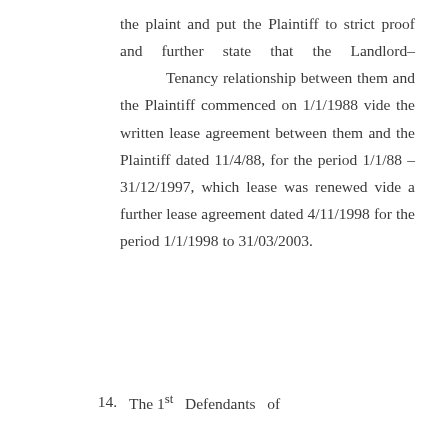the plaint and put the Plaintiff to strict proof and further state that the Landlord– Tenancy relationship between them and the Plaintiff commenced on 1/1/1988 vide the written lease agreement between them and the Plaintiff dated 11/4/88, for the period 1/1/88 – 31/12/1997, which lease was renewed vide a further lease agreement dated 4/11/1998 for the period 1/1/1998 to 31/03/2003.
14. The 1st Defendants of